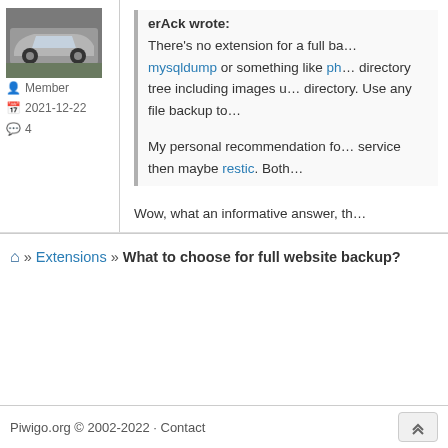[Figure (photo): User avatar showing a silver/grey car parked outdoors]
Member
2021-12-22
4
erAck wrote:
There's no extension for a full ba… mysqldump or something like ph… directory tree including images u… directory. Use any file backup to…

My personal recommendation fo… service then maybe restic. Both…
Wow, what an informative answer, th…
⌂ » Extensions » What to choose for full website backup?
Piwigo.org © 2002-2022 · Contact